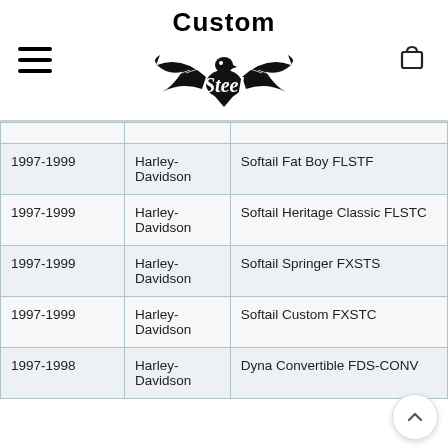[Figure (logo): Custom Steel logo with eagle and 'Custom Steel' text]
| Year | Make | Model |
| --- | --- | --- |
| 1997-1999 | Harley-Davidson | Softail Fat Boy FLSTF |
| 1997-1999 | Harley-Davidson | Softail Heritage Classic FLSTC |
| 1997-1999 | Harley-Davidson | Softail Springer FXSTS |
| 1997-1999 | Harley-Davidson | Softail Custom FXSTC |
| 1997-1998 | Harley-Davidson | Dyna Convertible FDS-CONV |